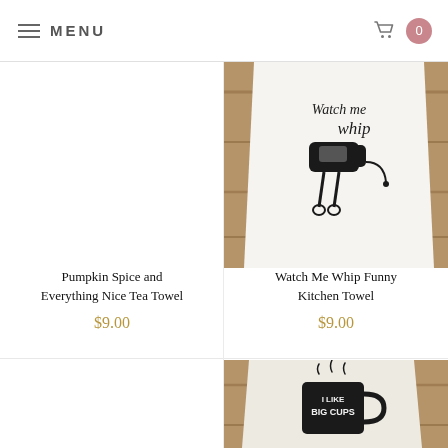MENU  0
[Figure (photo): White tea towel with 'Watch me whip' text and electric hand mixer illustration on a wooden background]
Pumpkin Spice and Everything Nice Tea Towel
$9.00
Watch Me Whip Funny Kitchen Towel
$9.00
[Figure (photo): White/cream tea towel with 'I Like Big Cups' text and steaming coffee mug illustration on a wooden background]